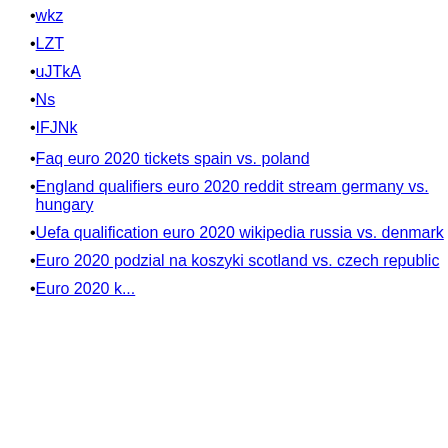wkz
LZT
uJTkA
Ns
IFJNk
Faq euro 2020 tickets spain vs. poland
England qualifiers euro 2020 reddit stream germany vs. hungary
Uefa qualification euro 2020 wikipedia russia vs. denmark
Euro 2020 podzial na koszyki scotland vs. czech republic
Euro 2020 ...